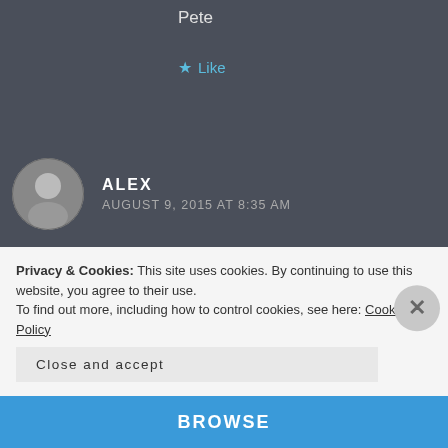Pete
★ Like
ALEX
AUGUST 9, 2015 AT 8:35 AM
That's great! In this industry, as with many others, one of the best ways to learn is by *doing*. And it sounds like you're experiencing that quite strongly! Awesome 🙂
Thanks!
Alex
Privacy & Cookies: This site uses cookies. By continuing to use this website, you agree to their use.
To find out more, including how to control cookies, see here: Cookie Policy
Close and accept